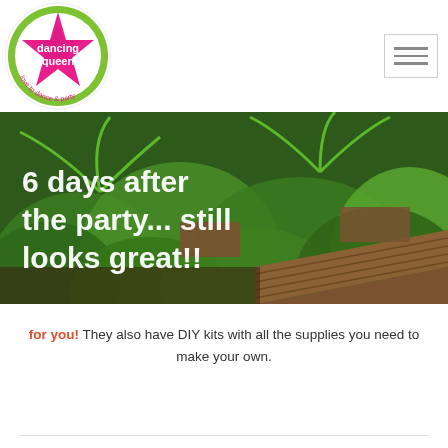[Figure (logo): Dancing Queen logo — circular badge with green ring and pink star, text 'dancing queen' and 'love to dance & party']
[Figure (photo): Outdoor garden setting with lush green tropical palm plants and a rustic wooden table with benches. White text overlay reads '6 days after the party... still looks great!!']
for you! They also have DIY kits with all the supplies you need to make your own.